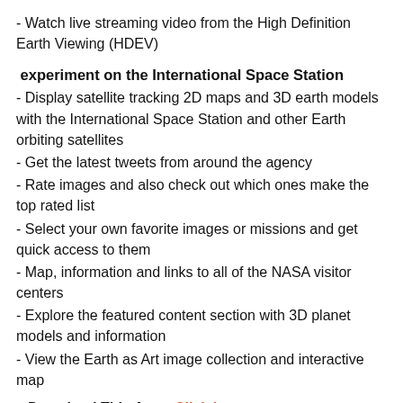- Watch live streaming video from the High Definition Earth Viewing (HDEV)
experiment on the International Space Station
- Display satellite tracking 2D maps and 3D earth models with the International Space Station and other Earth orbiting satellites
- Get the latest tweets from around the agency
- Rate images and also check out which ones make the top rated list
- Select your own favorite images or missions and get quick access to them
- Map, information and links to all of the NASA visitor centers
- Explore the featured content section with 3D planet models and information
- View the Earth as Art image collection and interactive map
⬛Download This Apps: Click here